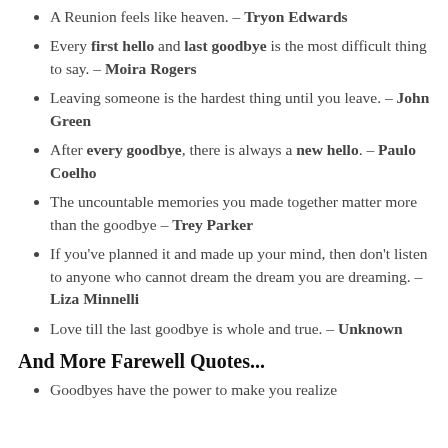A Reunion feels like heaven. – Tryon Edwards
Every first hello and last goodbye is the most difficult thing to say. – Moira Rogers
Leaving someone is the hardest thing until you leave. – John Green
After every goodbye, there is always a new hello. – Paulo Coelho
The uncountable memories you made together matter more than the goodbye – Trey Parker
If you've planned it and made up your mind, then don't listen to anyone who cannot dream the dream you are dreaming. – Liza Minnelli
Love till the last goodbye is whole and true. – Unknown
And More Farewell Quotes...
Goodbyes have the power to make you realize